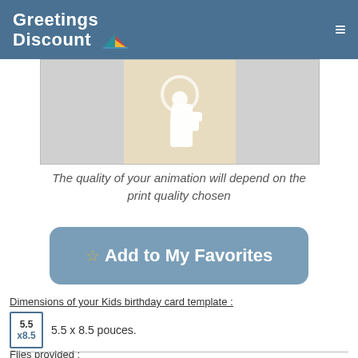Greetings Discount
[Figure (illustration): A hand cursor/pointer icon over an envelope/card image with grey and beige background panels]
The quality of your animation will depend on the print quality chosen
☆ Add to My Favorites
Dimensions of your Kids birthday card template :
5.5 x8.5  5.5 x 8.5 pouces.
Files provided :